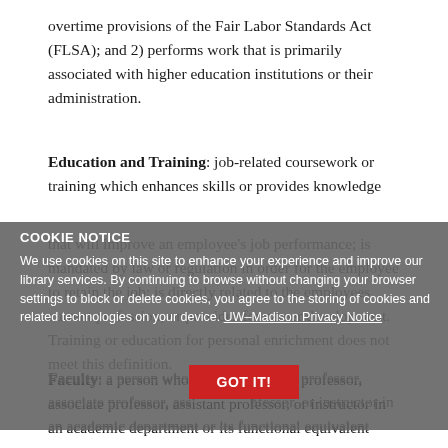overtime provisions of the Fair Labor Standards Act (FLSA); and 2) performs work that is primarily associated with higher education institutions or their administration.
Education and Training: job-related coursework or training which enhances skills or provides knowledge that will improve an employee's job performance; is mandated by law or regulation in order for the employee to retain the job; is directly related to the employees current profession; or provides for career development. Training or education for personal enrichment does not meet this definition.
Faculty: a person who holds the rank of professor, associate professor, assistant professor, or instructor in an academic department or its functional equivalent
COOKIE NOTICE
We use cookies on this site to enhance your experience and improve our library services. By continuing to browse without changing your browser settings to block or delete cookies, you agree to the storing of cookies and related technologies on your device. UW–Madison Privacy Notice